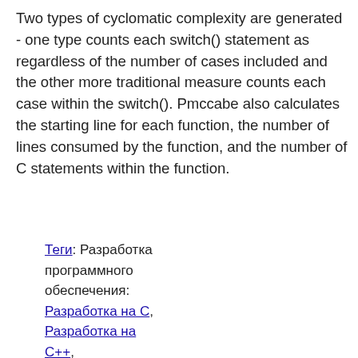Two types of cyclomatic complexity are generated - one type counts each switch() statement as regardless of the number of cases included and the other more traditional measure counts each case within the switch(). Pmccabe also calculates the starting line for each function, the number of lines consumed by the function, and the number of C statements within the function.
Теги: Разработка программного обеспечения: Разработка на С, Разработка на С++, devel::testing-qa, interface::commandline, Роль: Программа,